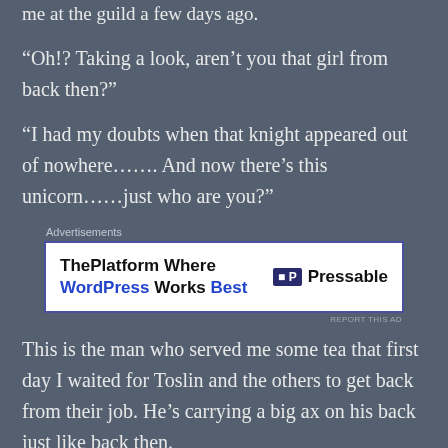me at the guild a few days ago.
“Oh!? Taking a look, aren’t you that girl from back then?”
“I had my doubts when that knight appeared out of nowhere……. And now there’s this unicorn……just who are you?”
[Figure (screenshot): Advertisement banner: ThePlatform Where WordPress Works Best | Pressable]
This is the man who served me some tea that first day I waited for Toslin and the others to get back from their job. He’s carrying a big ax on his back just like back then.